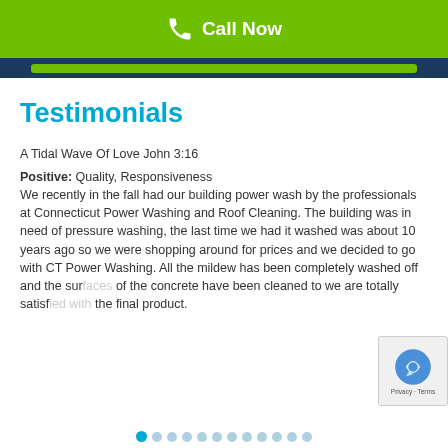Call Now
Testimonials
A Tidal Wave Of Love John 3:16
Positive: Quality, Responsiveness
We recently in the fall had our building power wash by the professionals at Connecticut Power Washing and Roof Cleaning. The building was in need of pressure washing, the last time we had it washed was about 10 years ago so we were shopping around for prices and we decided to go with CT Power Washing. All the mildew has been completely washed off and the surfaces of the concrete have been cleaned to we are totally satisfied with the final product.